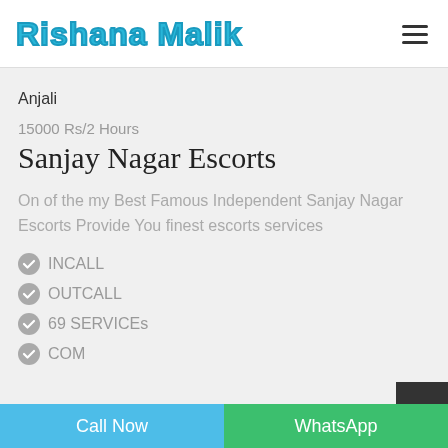Rishana Malik
Anjali
15000 Rs/2 Hours
Sanjay Nagar Escorts
On of the my Best Famous Independent Sanjay Nagar Escorts Provide You finest escorts services
INCALL
OUTCALL
69 SERVICEs
COM
Call Now   WhatsApp